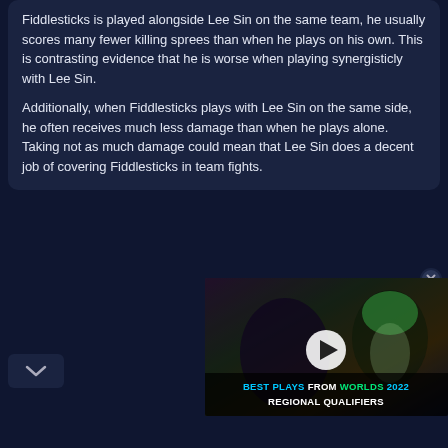Fiddlesticks is played alongside Lee Sin on the same team, he usually scores many fewer killing sprees than when he plays on his own. This is contrasting evidence that he is worse when playing synergisticly with Lee Sin.
Additionally, when Fiddlesticks plays with Lee Sin on the same side, he often receives much less damage than when he plays alone. Taking not as much damage could mean that Lee Sin does a decent job of covering Fiddlesticks in team fights.
[Figure (screenshot): Video thumbnail for 'Best Plays from Worlds 2022 Regional Qualifiers' with a play button overlay and a character with green hair. Colorful text at the bottom reads BEST PLAYS FROM WORLDS 2022 REGIONAL QUALIFIERS.]